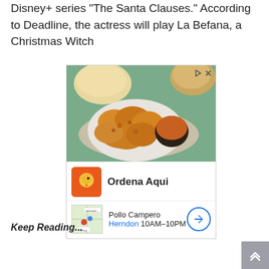Disney+ series "The Santa Clauses." According to Deadline, the actress will play La Befana, a Christmas Witch
[Figure (photo): Advertisement image showing fried chicken pieces on a white plate with dipping sauce and bread rolls in background, for Pollo Campero restaurant. Ad includes brand logo, 'Ordena Aqui' call to action, and location info for Herndon store open 10AM-10PM.]
Keep Reading...